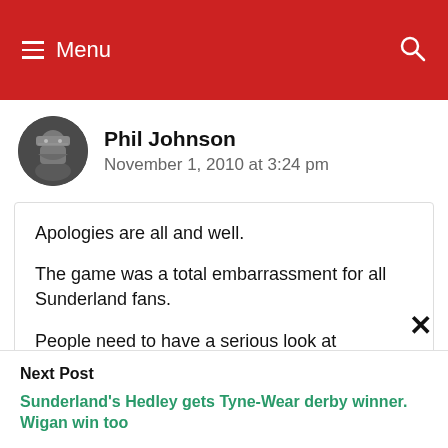Menu
Phil Johnson
November 1, 2010 at 3:24 pm
Apologies are all and well.

The game was a total embarrassment for all Sunderland fans.

People need to have a serious look at themselves. What they did before the
Next Post
Sunderland's Hedley gets Tyne-Wear derby winner. Wigan win too